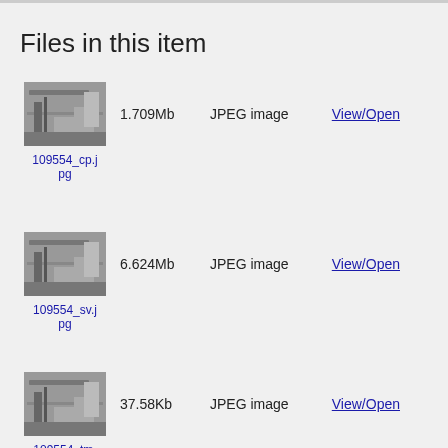Files in this item
[Figure (photo): Thumbnail of black and white street scene photo, filename 109554_cp.jpg]
109554_cp.jpg
1.709Mb
JPEG image
View/Open
[Figure (photo): Thumbnail of black and white street scene photo, filename 109554_sv.jpg]
109554_sv.jpg
6.624Mb
JPEG image
View/Open
[Figure (photo): Thumbnail of black and white street scene photo, filename 109554_tm.jpg]
109554_tm.jpg
37.58Kb
JPEG image
View/Open